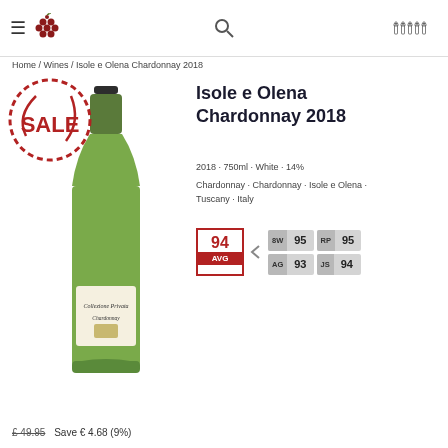Home / Wines / Isole e Olena Chardonnay 2018
[Figure (photo): Green wine bottle of Isole e Olena Collezione Privata Chardonnay with a red SALE stamp overlay]
Isole e Olena Chardonnay 2018
2018 · 750ml · White · 14%
Chardonnay · Chardonnay · Isole e Olena · Tuscany · Italy
94 AVG | 8W 95 | RP 95 | AG 93 | JS 94
£ 49.95  Save € 4.68 (9%)